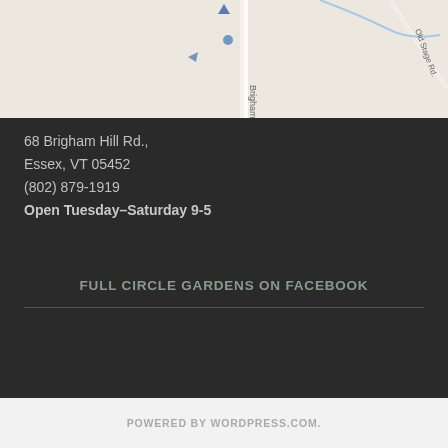[Figure (map): Google Maps showing 68 Brigham Hill Rd., Essex, VT area with Brigham Hill road and Old Stage Rd visible]
68 Brigham Hill Rd.,
Essex, VT 05452
(802) 879-1919
Open Tuesday–Saturday 9-5
FULL CIRCLE GARDENS ON FACEBOOK
POWERED BY WORDPRESS.COM.